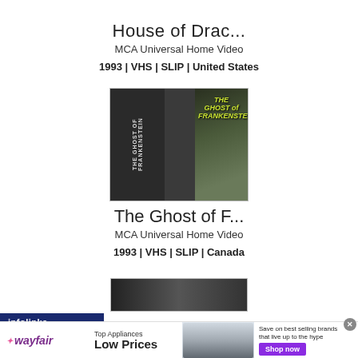House of Drac...
MCA Universal Home Video
1993 | VHS | SLIP | United States
[Figure (photo): VHS tape cover of The Ghost of Frankenstein]
The Ghost of F...
MCA Universal Home Video
1993 | VHS | SLIP | Canada
[Figure (photo): Partial VHS tape cover of third item]
[Figure (infographic): Wayfair advertisement banner: Top Appliances Low Prices, Save on best selling brands that live up to the hype, Shop now button]